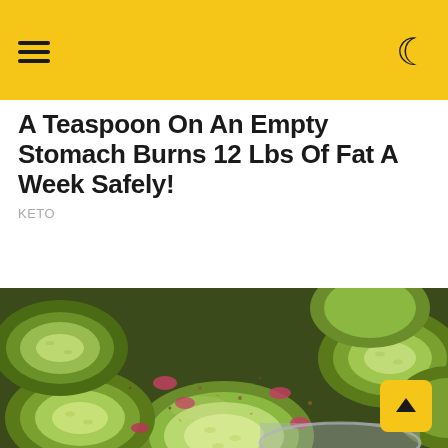A Teaspoon On An Empty Stomach Burns 12 Lbs Of Fat A Week Safely!
KETO
[Figure (photo): Close-up photo of sliced cucumbers with red onion and herbs/spices in a bowl, food styling shot for a diet/keto recipe article]